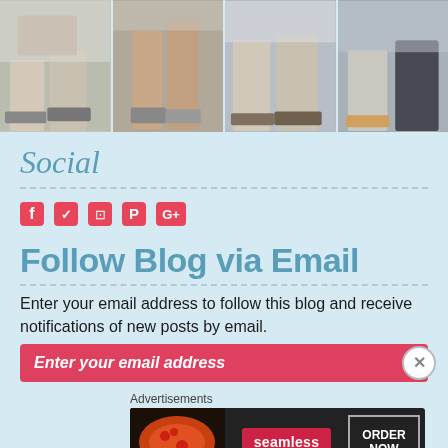[Figure (photo): Photo strip showing four photos of people's feet/legs with sandals and shoes on a floor]
Social
[Figure (infographic): Row of social media icons: Facebook, Twitter, Instagram, Pinterest, Google+]
Follow Blog via Email
Enter your email address to follow this blog and receive notifications of new posts by email.
Enter your email address
Advertisements
[Figure (photo): Seamless food delivery advertisement banner with pizza image, seamless logo, and ORDER NOW button]